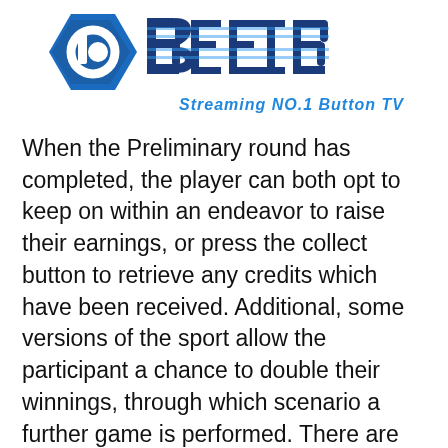[Figure (logo): BEEBI logo with hexagonal 'b' icon and stylized text, tagline: Streaming NO.1 Button TV]
When the Preliminary round has completed, the player can both opt to keep on within an endeavor to raise their earnings, or press the collect button to retrieve any credits which have been received. Additional, some versions of the sport allow the participant a chance to double their winnings, through which scenario a further game is performed. There are also variants in between individual machines, with a few Digital decks which include wild playing